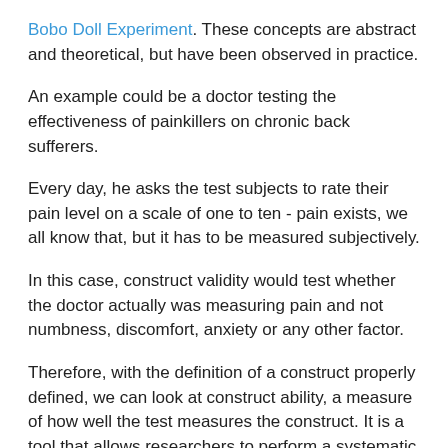Bobo Doll Experiment. These concepts are abstract and theoretical, but have been observed in practice.
An example could be a doctor testing the effectiveness of painkillers on chronic back sufferers.
Every day, he asks the test subjects to rate their pain level on a scale of one to ten - pain exists, we all know that, but it has to be measured subjectively.
In this case, construct validity would test whether the doctor actually was measuring pain and not numbness, discomfort, anxiety or any other factor.
Therefore, with the definition of a construct properly defined, we can look at construct ability, a measure of how well the test measures the construct. It is a tool that allows researchers to perform a systematic analysis of how well